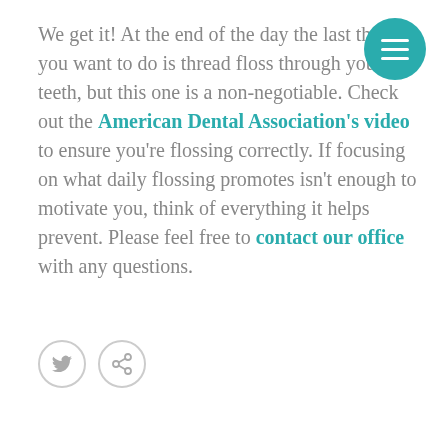We get it!  At the end of the day the last thing you want to do is thread floss through your teeth, but this one is a non-negotiable. Check out the American Dental Association's video to ensure you're flossing correctly.  If focusing on what daily flossing promotes isn't enough to motivate you, think of everything it helps prevent.  Please feel free to contact our office with any questions.
[Figure (other): Social share icons: Twitter bird icon and a share/forward arrow icon, both in light gray circular outlines]